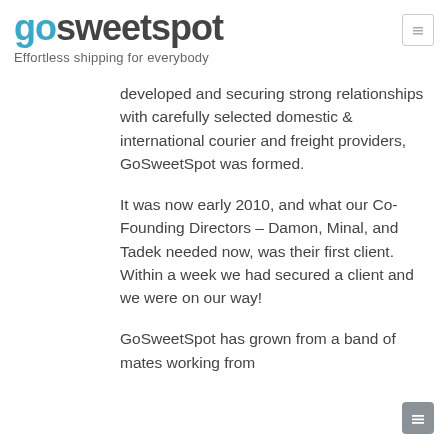gosweetspot — Effortless shipping for everybody
developed and securing strong relationships with carefully selected domestic & international courier and freight providers, GoSweetSpot was formed.
It was now early 2010, and what our Co-Founding Directors – Damon, Minal, and Tadek needed now, was their first client. Within a week we had secured a client and we were on our way!
GoSweetSpot has grown from a band of mates working from